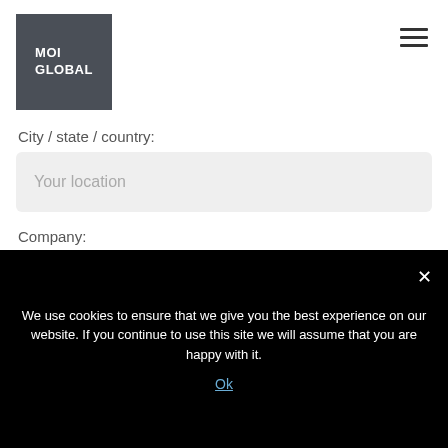[Figure (logo): MOI GLOBAL logo — white text on dark grey square background]
City / state / country:
Your location
Company:
Your company
How did you hear about MOI Global?
We use cookies to ensure that we give you the best experience on our website. If you continue to use this site we will assume that you are happy with it.
Ok